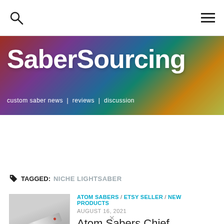SaberSourcing — custom saber news | reviews | discussion
[Figure (illustration): SaberSourcing website banner with colorful background (reds, purples, blues, greens, yellows) showing lightsaber hilts. Large white bold text 'SaberSourcing' with subtitle 'custom saber news | reviews | discussion']
TAGGED: NICHE LIGHTSABER
[Figure (photo): Thumbnail photo of a metallic lightsaber hilt (Atom Sabers Chief Librarian) with a small red dot/button visible, on a white background]
ATOM SABERS / ETSY SELLER / NEW PRODUCTS
AUGUST 16, 2021
Atom Sabers Chief Librarian